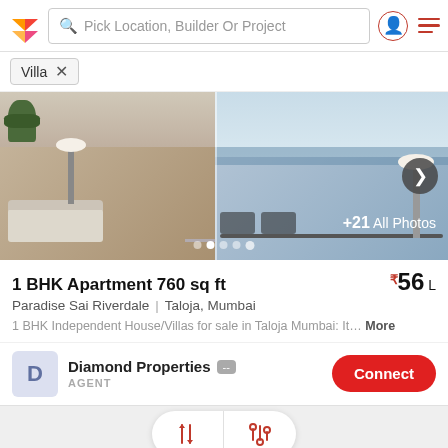Pick Location, Builder Or Project
Villa ×
[Figure (photo): Property interior photos showing a modern living room and dining area with floor-to-ceiling windows, lamps, and a view. Navigation arrow and photo count +21 All Photos shown.]
1 BHK Apartment 760 sq ft    ₹56 L
Paradise Sai Riverdale  |  Taloja, Mumbai
1 BHK Independent House/Villas for sale in Taloja Mumbai: It…  More
Diamond Properties  AGENT  Connect
[Figure (photo): Exterior photo of Sai Sun City building with ornate arch gate entrance, palm trees and blue sky visible.]